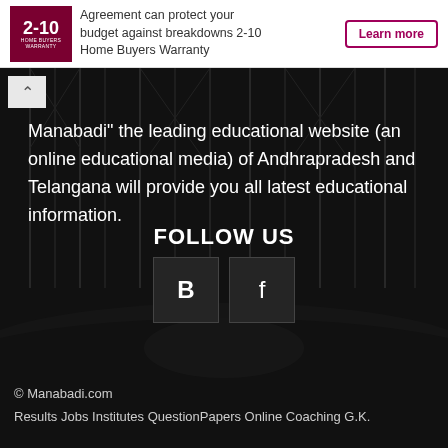[Figure (infographic): 2-10 Home Buyers Warranty advertisement banner with logo on left, text about Agreement protecting budget against breakdowns, and a Learn More button on right]
Manabadi" the leading educational website (an online educational media) of Andhrapradesh and Telangana will provide you all latest educational information.
FOLLOW US
[Figure (infographic): Two social media icon buttons: Blogger (B) and Facebook (f) in dark square boxes]
© Manabadi.com
Results   Jobs   Institutes   QuestionPapers   Online Coaching   G.K.